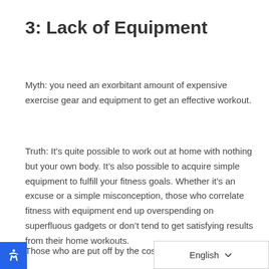3: Lack of Equipment
Myth: you need an exorbitant amount of expensive exercise gear and equipment to get an effective workout.
Truth: It’s quite possible to work out at home with nothing but your own body. It’s also possible to acquire simple equipment to fulfill your fitness goals. Whether it’s an excuse or a simple misconception, those who correlate fitness with equipment end up overspending on superfluous gadgets or don’t tend to get satisfying results from their home workouts.
Those who are put off by the cost of high-tec